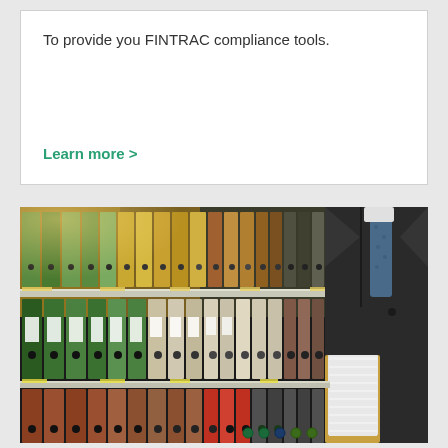To provide you FINTRAC compliance tools.
Learn more >
[Figure (photo): A businessman in a dark suit and tie holding a folder with papers, standing in front of shelves filled with colorful binders and file folders in various colors including green, beige, red, and gray.]